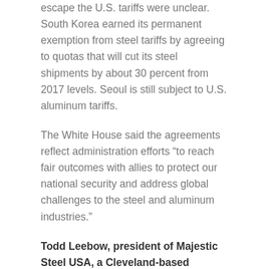escape the U.S. tariffs were unclear. South Korea earned its permanent exemption from steel tariffs by agreeing to quotas that will cut its steel shipments by about 30 percent from 2017 levels. Seoul is still subject to U.S. aluminum tariffs.
The White House said the agreements reflect administration efforts “to reach fair outcomes with allies to protect our national security and address global challenges to the steel and aluminum industries.”
Todd Leebow, president of Majestic Steel USA, a Cleveland-based distributor of domestic steel products, said American steelmakers needed certainty that import protections won’t be eroded.
“We’re hopeful this extension moves us toward the most productive path for our domestic steel industry — the tariffs President Trump announced earlier this year and...